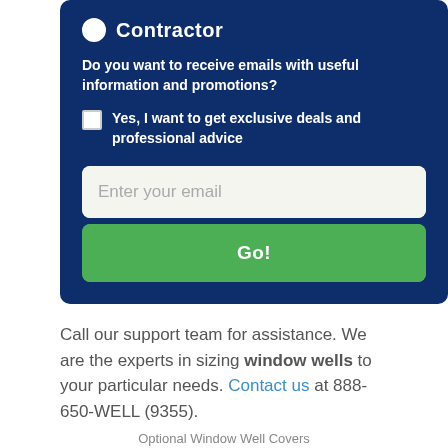Contractor
Do you want to receive emails with useful information and promotions?
Yes, I want to get exclusive deals and professional advice
Enter your email
Go!
Call our support team for assistance. We are the experts in sizing window wells to your particular needs. Contact us at 888-650-WELL (9355).
Optional Window Well Covers